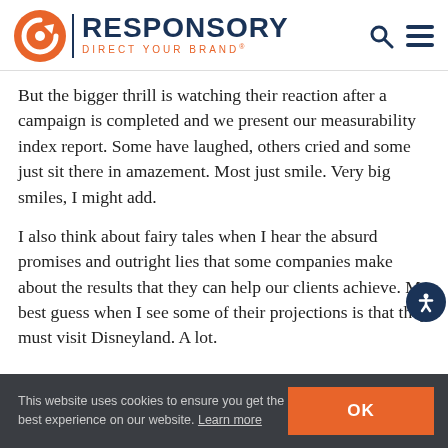RESPONSORY DIRECT YOUR BRAND
But the bigger thrill is watching their reaction after a campaign is completed and we present our measurability index report. Some have laughed, others cried and some just sit there in amazement. Most just smile. Very big smiles, I might add.
I also think about fairy tales when I hear the absurd promises and outright lies that some companies make about the results that they can help our clients achieve. My best guess when I see some of their projections is that they must visit Disneyland. A lot.
This website uses cookies to ensure you get the best experience on our website. Learn more